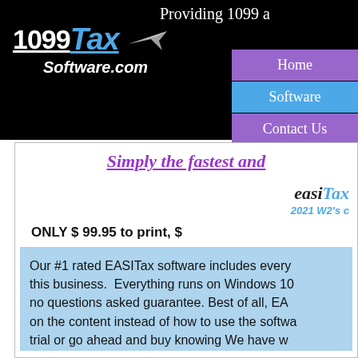[Figure (logo): 1099Tax Software.com logo with plane icon on black background header]
Providing 1099 a
Home
Software
Contact Us
Simply the fastest and
[Figure (logo): easiTax logo with text '2021 W2's c']
ONLY $ 99.95 to print, $
Our #1 rated EASITax software includes every this business. Everything runs on Windows 10 no questions asked guarantee. Best of all, EA on the content instead of how to use the softwa trial or go ahead and buy knowing We have w